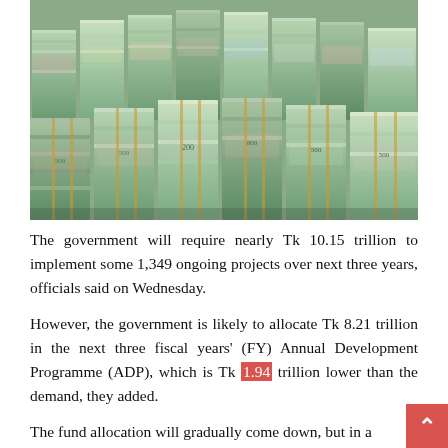[Figure (photo): Stacks of bundled Bangladeshi taka banknotes piled in rows, showing large amounts of currency]
The government will require nearly Tk 10.15 trillion to implement some 1,349 ongoing projects over next three years, officials said on Wednesday.
However, the government is likely to allocate Tk 8.21 trillion in the next three fiscal years' (FY) Annual Development Programme (ADP), which is Tk 1.94 trillion lower than the demand, they added.
The fund allocation will gradually come down, but in a